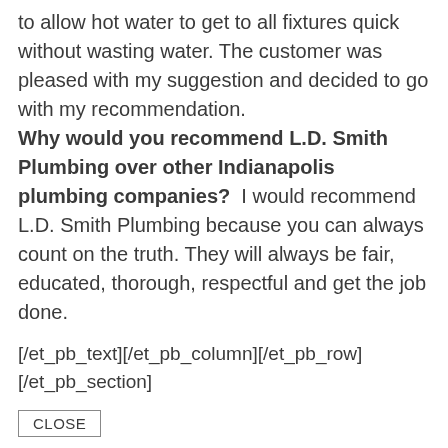to allow hot water to get to all fixtures quick without wasting water. The customer was pleased with my suggestion and decided to go with my recommendation. Why would you recommend L.D. Smith Plumbing over other Indianapolis plumbing companies? I would recommend L.D. Smith Plumbing because you can always count on the truth. They will always be fair, educated, thorough, respectful and get the job done.
[/et_pb_text][/et_pb_column][/et_pb_row] [/et_pb_section]
CLOSE